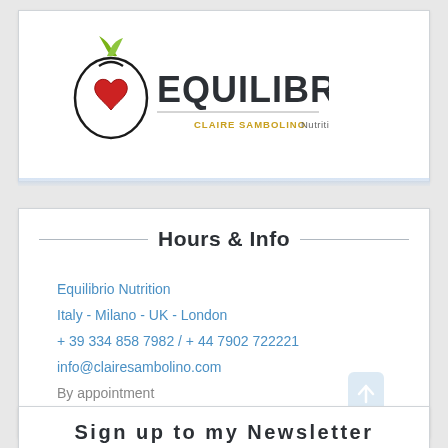[Figure (logo): Equilibrio Nutrition logo — stylized apple outline with a red heart inside, green leaf sprout on top, text EQUILIBRIO in large letters, CLAIRE SAMBOLINO Nutrition MSc below in smaller text with a horizontal rule]
Hours & Info
Equilibrio Nutrition
Italy - Milano - UK - London
+ 39 334 858 7982 / + 44 7902 722221
info@clairesambolino.com
By appointment
Sign up to my Newsletter